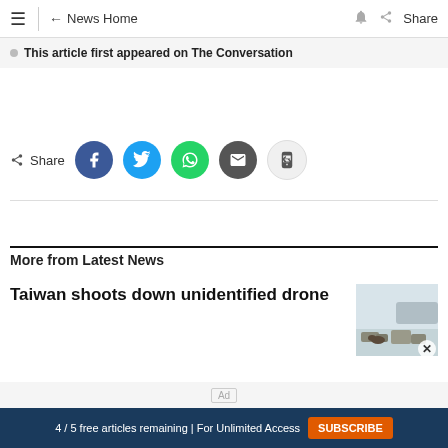≡  ← News Home  Share
This article first appeared on The Conversation
Share
More from Latest News
Taiwan shoots down unidentified drone
4 / 5 free articles remaining | For Unlimited Access  SUBSCRIBE